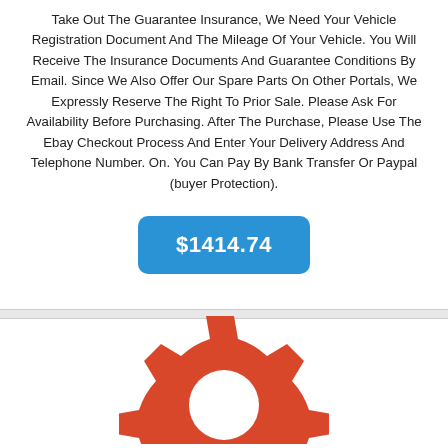Take Out The Guarantee Insurance, We Need Your Vehicle Registration Document And The Mileage Of Your Vehicle. You Will Receive The Insurance Documents And Guarantee Conditions By Email. Since We Also Offer Our Spare Parts On Other Portals, We Expressly Reserve The Right To Prior Sale. Please Ask For Availability Before Purchasing. After The Purchase, Please Use The Ebay Checkout Process And Enter Your Delivery Address And Telephone Number. On. You Can Pay By Bank Transfer Or Paypal (buyer Protection).
[Figure (other): Blue rounded rectangle button displaying the price $1414.74 in white bold text]
[Figure (illustration): Red gear/cog icon partially visible at the bottom of the page]